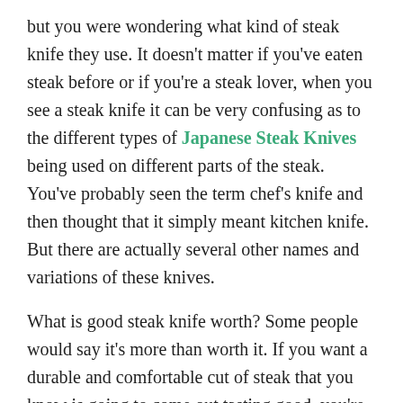but you were wondering what kind of steak knife they use. It doesn't matter if you've eaten steak before or if you're a steak lover, when you see a steak knife it can be very confusing as to the different types of Japanese Steak Knives being used on different parts of the steak. You've probably seen the term chef's knife and then thought that it simply meant kitchen knife. But there are actually several other names and variations of these knives.
What is good steak knife worth? Some people would say it's more than worth it. If you want a durable and comfortable cut of steak that you know is going to come out tasting good, you're better off spending the extra money on good steak knives than for cheaper alternatives that you aren't likely to like as much. There is definitely an affordable option, though.